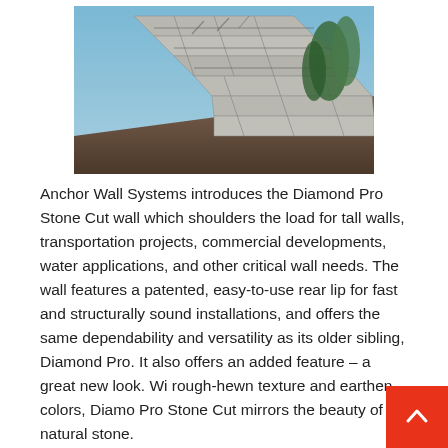[Figure (photo): Photograph of a large retaining wall made of stone-cut concrete blocks, with evergreen trees visible on the right side against a blue sky.]
Anchor Wall Systems introduces the Diamond Pro Stone Cut wall which shoulders the load for tall walls, transportation projects, commercial developments, water applications, and other critical wall needs. The wall features a patented, easy-to-use rear lip for fast and structurally sound installations, and offers the same dependability and versatility as its older sibling, Diamond Pro. It also offers an added feature – a great new look. Wi rough-hewn texture and earthen colors, Diamo Pro Stone Cut mirrors the beauty of natural stone.